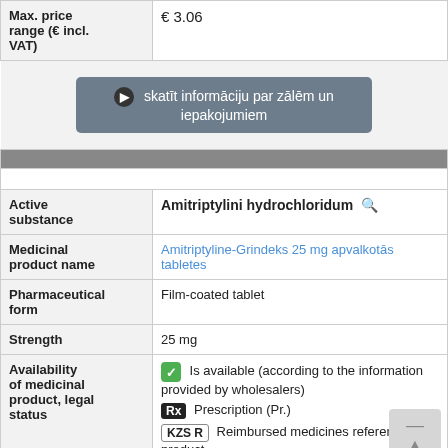| Field | Value |
| --- | --- |
| Max. price range (€ incl. VAT) | € 3.06 |
|  | skatīt informāciju par zālēm un iepakojumiem |
| Active substance | Amitriptylini hydrochloridum |
| Medicinal product name | Amitriptyline-Grindeks 25 mg apvalkotās tabletes |
| Pharmaceutical form | Film-coated tablet |
| Strength | 25 mg |
| Availability of medicinal product, legal status | Is available (according to the information provided by wholesalers) Prescription (Pr.) Reimbursed medicines reference product |